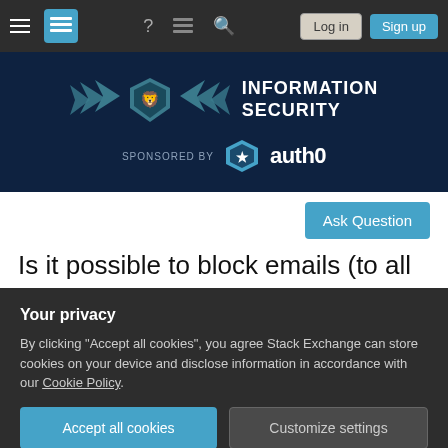[Figure (screenshot): Stack Exchange navigation bar with hamburger menu, logo, help icon, feedback icon, search icon, Log in and Sign up buttons]
[Figure (logo): Information Security Stack Exchange banner with winged shield lion logo, sponsored by auth0]
Ask Question
Is it possible to block emails (to all email accounts) that contain certain word/phrase
Your privacy
By clicking "Accept all cookies", you agree Stack Exchange can store cookies on your device and disclose information in accordance with our Cookie Policy.
Accept all cookies
Customize settings
now by an ex-boyfriend. He recently worked out her